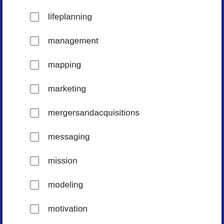lifeplanning
management
mapping
marketing
mergersandacquisitions
messaging
mission
modeling
motivation
nonprofit